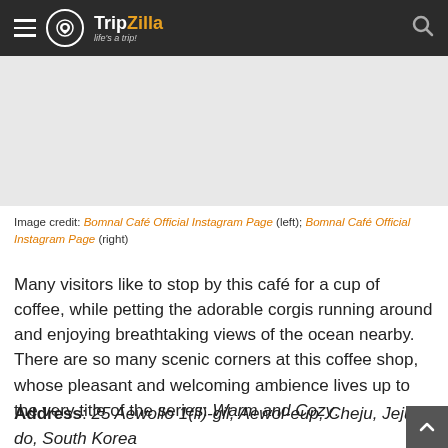TripZilla — life's a trip!
[Figure (other): Gray placeholder area for two café images (left and right)]
Image credit: Bomnal Café Official Instagram Page (left); Bomnal Café Official Instagram Page (right)
Many visitors like to stop by this café for a cup of coffee, while petting the adorable corgis running around and enjoying breathtaking views of the ocean nearby. There are so many scenic corners at this coffee shop, whose pleasant and welcoming ambience lives up to the very title of the series: Warm and Cozy.
Address: 25 Aewollo 1(il)-gil, Aewol-eup, Cheju, Jeju-do, South Korea